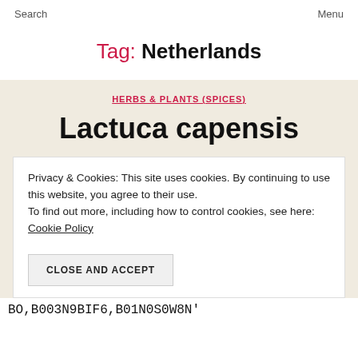Search    Menu
Tag: Netherlands
HERBS & PLANTS (SPICES)
Lactuca capensis
Privacy & Cookies: This site uses cookies. By continuing to use this website, you agree to their use. To find out more, including how to control cookies, see here: Cookie Policy
CLOSE AND ACCEPT
BO,B003N9BIF6,B01N0S0W8N'